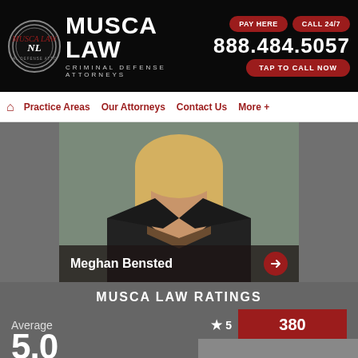MUSCA LAW — Criminal Defense Attorneys | PAY HERE | CALL 24/7 | 888.484.5057 | TAP TO CALL NOW
Practice Areas | Our Attorneys | Contact Us | More +
[Figure (photo): Headshot photo of attorney Meghan Bensted, a woman with blonde hair wearing a dark jacket, with overlay caption 'Meghan Bensted' and a red arrow button]
MUSCA LAW RATINGS
Average ★ 5  380